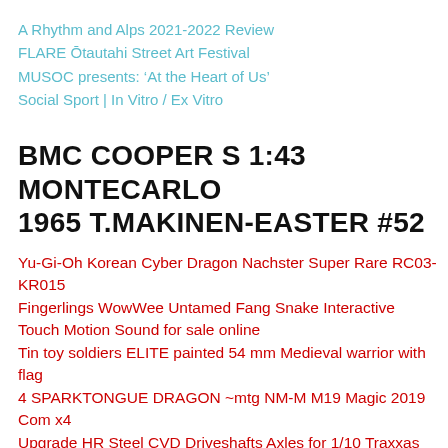A Rhythm and Alps 2021-2022 Review
FLARE Ōtautahi Street Art Festival
MUSOC presents: ‘At the Heart of Us’
Social Sport | In Vitro / Ex Vitro
BMC COOPER S 1:43 MONTECARLO 1965 T.MAKINEN-EASTER #52
Yu-Gi-Oh Korean Cyber Dragon Nachster Super Rare RC03-KR015
Fingerlings WowWee Untamed Fang Snake Interactive Touch Motion Sound for sale online
Tin toy soldiers ELITE painted 54 mm Medieval warrior with flag
4 SPARKTONGUE DRAGON ~mtg NM-M M19 Magic 2019 Com x4
Upgrade HR Steel CVD Driveshafts Axles for 1/10 Traxxas Summit E-Revo Hot Racing
AMT #22 Big Rig Trucking Decal Sheet waterslide 1/25
*SALE* Digital Sight Words Bundle 1-200 Sightwords Flash Cards...